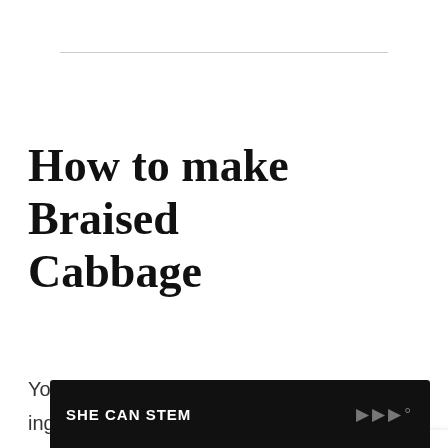How to make Braised Cabbage
You'll need the following simple ingredients to make this very simple recipe. The full detailed instructions and printable card are below.
[Figure (other): SHE CAN STEM advertisement banner with dark background and logo text]
[Figure (other): Teal heart/like button showing 307 likes, share button, and What's Next widget showing Chicken Teriyaki recommendation with food thumbnail]